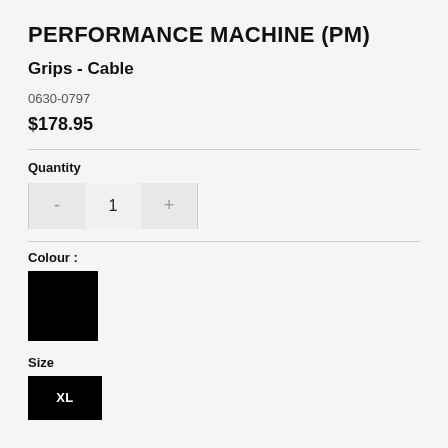PERFORMANCE MACHINE (PM)
Grips - Cable
0630-0797
$178.95
Quantity
1
Colour :
[Figure (other): Black colour swatch square]
Size
[Figure (other): Black XL size button]